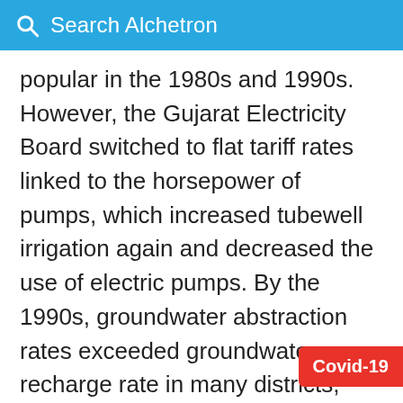Search Alchetron
popular in the 1980s and 1990s. However, the Gujarat Electricity Board switched to flat tariff rates linked to the horsepower of pumps, which increased tubewell irrigation again and decreased the use of electric pumps. By the 1990s, groundwater abstraction rates exceeded groundwater recharge rate in many districts, whilst only 37.5% of all districts has "safe" recharge rates. Groundwater maintenance and preventing unnecessary loss of the available water supplies is now an issue faced by the state. The Sardar Sarovar Project, a debated dam project in the Narmada valley consisting of a network of has significantly increased irrigation in the region.